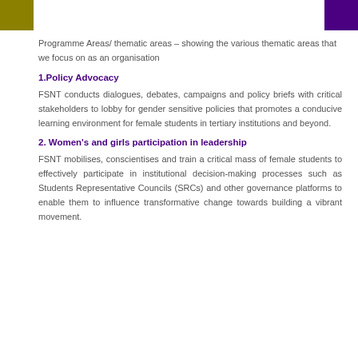Programme Areas/ thematic areas – showing the various thematic areas that we focus on as an organisation
1.Policy Advocacy
FSNT conducts dialogues, debates, campaigns and policy briefs with critical stakeholders to lobby for gender sensitive policies that promotes a conducive learning environment for female students in tertiary institutions and beyond.
2. Women's and girls participation in leadership
FSNT mobilises, conscientises and train a critical mass of female students to effectively participate in institutional decision-making processes such as Students Representative Councils (SRCs) and other governance platforms to enable them to influence transformative change towards building a vibrant movement.